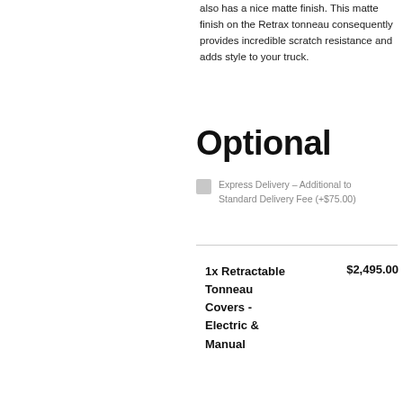also has a nice matte finish. This matte finish on the Retrax tonneau consequently provides incredible scratch resistance and adds style to your truck.
Optional
Express Delivery – Additional to Standard Delivery Fee (+$75.00)
1x Retractable Tonneau Covers - Electric & Manual $2,495.00